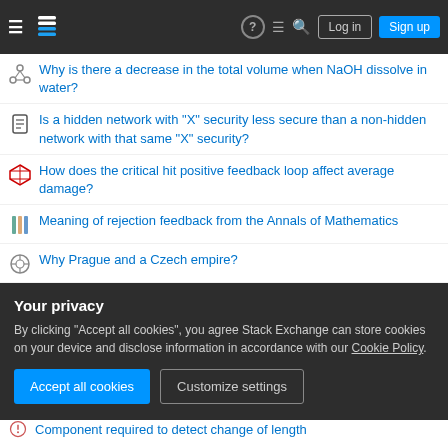Stack Exchange navigation bar with Log in and Sign up buttons
Why is there a decrease in the total volume when NaOH dissolve in water?
Is a hidden network with "X" security less secure than a non-hidden network with that same "X" security?
How does the critical hit positive feedback loop affect average damage?
Meaning of rejection feedback from the Annals of Mathematics
Why Prague and a Czech empire?
Cleaning with baking soda stains?
How mobile are adverbs in a Chinese sentence?
Your privacy
By clicking "Accept all cookies", you agree Stack Exchange can store cookies on your device and disclose information in accordance with our Cookie Policy.
Component required to detect change of length